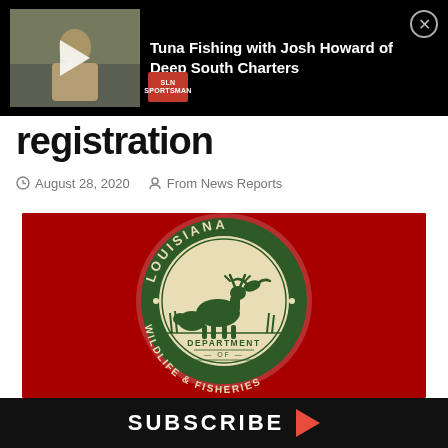[Figure (screenshot): Video overlay banner showing a thumbnail of a man in a yellow shirt with a play button, title text 'Tuna Fishing with Josh Howard of Deep South Charters', a red SLN badge, and a close button (X)]
registration
August 28, 2020   From News Reports
[Figure (screenshot): Louisiana Department of Wildlife & Fisheries official seal/logo on a dark red background — circular green and cream badge with deer, duck, and wildlife imagery]
SUBSCRIBE